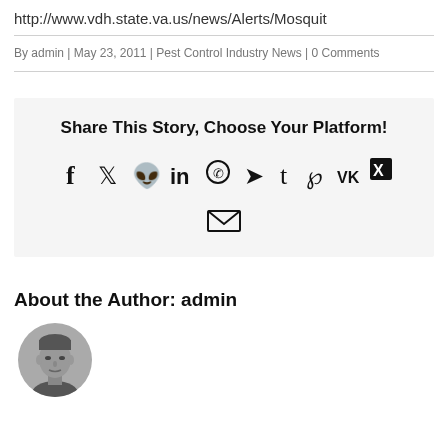http://www.vdh.state.va.us/news/Alerts/Mosquit
By admin | May 23, 2011 | Pest Control Industry News | 0 Comments
[Figure (infographic): Share This Story, Choose Your Platform! with social media icons: facebook, twitter, reddit, linkedin, whatsapp, telegram, tumblr, pinterest, vk, xing, and email]
About the Author: admin
[Figure (photo): Circular portrait photo of admin author, grayscale headshot of a man]